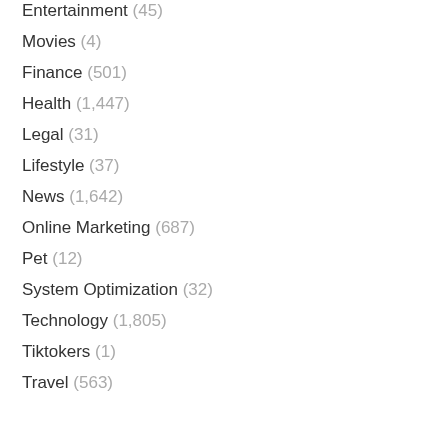Entertainment (45)
Movies (4)
Finance (501)
Health (1,447)
Legal (31)
Lifestyle (37)
News (1,642)
Online Marketing (687)
Pet (12)
System Optimization (32)
Technology (1,805)
Tiktokers (1)
Travel (563)